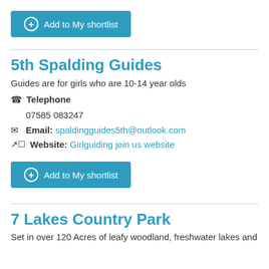Add to My shortlist
5th Spalding Guides
Guides are for girls who are 10-14 year olds
Telephone
07585 083247
Email: spaldingguides5th@outlook.com
Website: Girlguiding join us website
Add to My shortlist
7 Lakes Country Park
Set in over 120 Acres of leafy woodland, freshwater lakes and